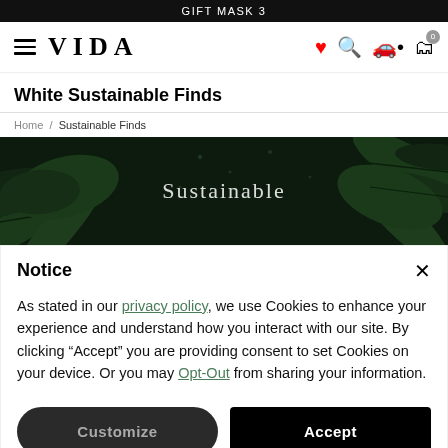GIFT MASK 3
VIDA
White Sustainable Finds
Home / Sustainable Finds
[Figure (photo): Dark background with tropical monstera and palm leaves, text 'Sustainable' in center]
Notice
As stated in our privacy policy, we use Cookies to enhance your experience and understand how you interact with our site. By clicking "Accept" you are providing consent to set Cookies on your device. Or you may Opt-Out from sharing your information.
Customize | Accept